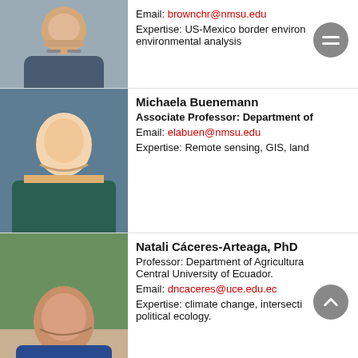[Figure (photo): Partial profile photo of man with gray beard in suit]
Email: brownchr@nmsu.edu
Expertise: US-Mexico border environ... environmental analysis
[Figure (photo): Profile photo of Michaela Buenemann, blonde woman smiling]
Michaela Buenemann
Associate Professor: Department of
Email: elabuen@nmsu.edu
Expertise: Remote sensing, GIS, land
[Figure (photo): Profile photo of Natali Caceres-Arteaga outdoors]
Natali Cáceres-Arteaga, PhD
Professor: Department of Agricultura... Central University of Ecuador.
Email: dncaceres@uce.edu.ec
Expertise: climate change, intersecti... political ecology.
[Figure (photo): Partial photo of David Correia]
David Correia